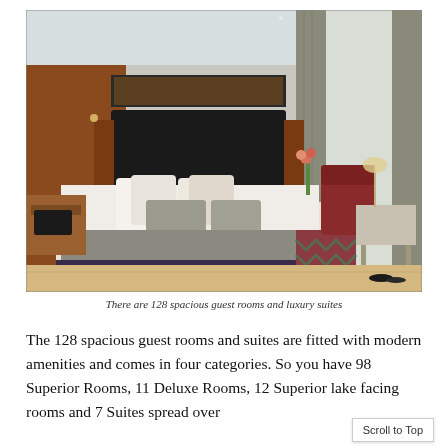[Figure (photo): A hotel bedroom with a large king-size bed, white linens, grey throw pillow accents, a dark headboard against a wood panel wall, a red armchair, floor-to-ceiling curtains, and warm wooden flooring.]
There are 128 spacious guest rooms and luxury suites
The 128 spacious guest rooms and suites are fitted with modern amenities and comes in four categories. So you have 98 Superior Rooms, 11 Deluxe Rooms, 12 Superior lake facing rooms and 7 Suites spread over...